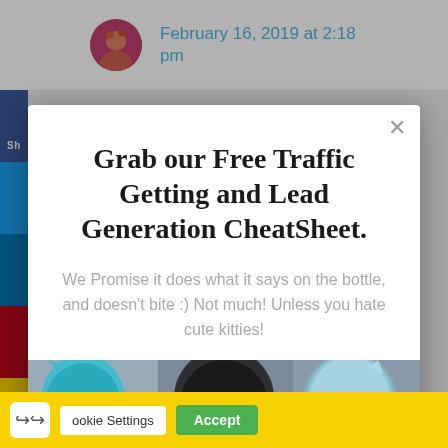February 16, 2019 at 2:18 pm
Grab our Free Traffic Getting and Lead Generation CheatSheet.
We Promise it does what it says on the bottle, and doesn't bite :) Not much! Unless you hate cute kitties!
[Figure (photo): Three cats wearing knitted hats/hoods in blue, black, and blue-striped patterns]
Cookie Settings   Accept